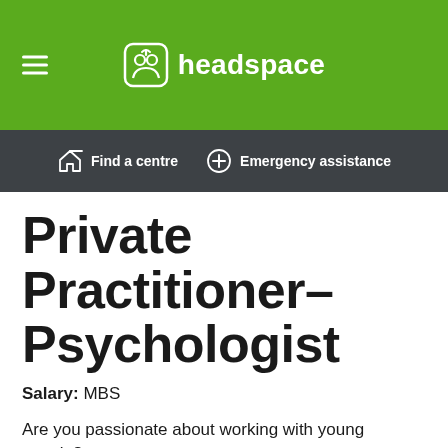headspace
[Figure (logo): headspace logo with icon and hamburger menu on green background]
[Figure (other): Dark navigation bar with Find a centre and Emergency assistance links]
Private Practitioner- Psychologist
Salary: MBS
Are you passionate about working with young people?
headspace Cannington is now accepting applications for private practitioners.